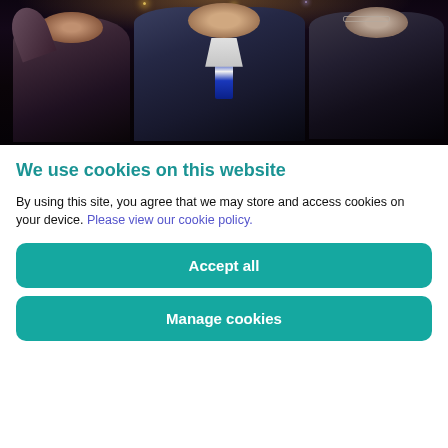[Figure (photo): Three people at a dark event venue with stage lights above, cropped to show upper bodies. Left person in dark jacket with raised arm, center person in blue suit with blue tie, right person in dark jacket with glasses.]
We use cookies on this website
By using this site, you agree that we may store and access cookies on your device. Please view our cookie policy.
Accept all
Manage cookies